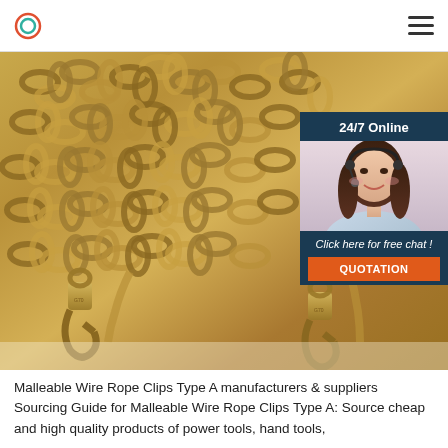Logo | Navigation menu
[Figure (photo): Golden/brass chain links with two G70 clevis grab hooks at the bottom, spread across the frame. In the top-right corner there is a 24/7 online chat widget with a female customer service agent wearing a headset, text 'Click here for free chat!' and an orange 'QUOTATION' button.]
Malleable Wire Rope Clips Type A manufacturers & suppliers Sourcing Guide for Malleable Wire Rope Clips Type A: Source cheap and high quality products of power tools, hand tools,